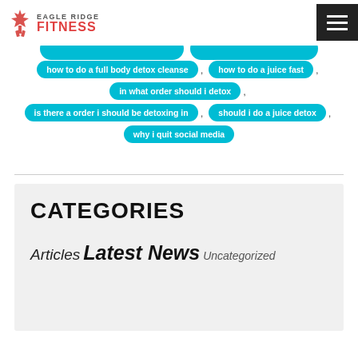[Figure (logo): Eagle Ridge Fitness logo with maple leaf / person icon and red FITNESS text]
how to do a full body detox cleanse
how to do a juice fast
in what order should i detox
is there a order i should be detoxing in
should i do a juice detox
why i quit social media
CATEGORIES
Articles Latest News Uncategorized